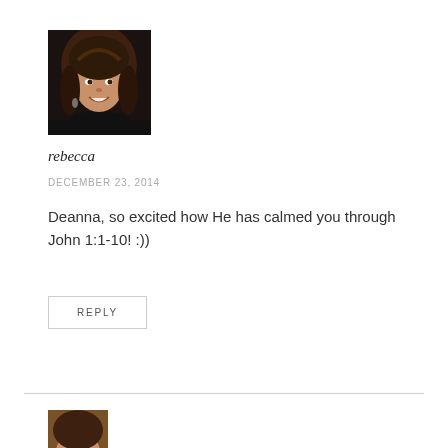[Figure (photo): Profile photo of a woman with dark hair, smiling, dark background]
rebecca
DECEMBER 23, 2014
Deanna, so excited how He has calmed you through John 1:1-10! :))
REPLY
[Figure (photo): Bottom partial profile photo, warm brown tones]